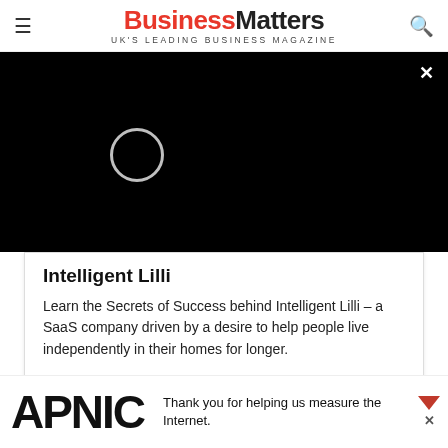Business Matters — UK'S LEADING BUSINESS MAGAZINE
[Figure (screenshot): Black video player overlay with a white circular spinner/loading indicator on the left side, and a white × close button in the top-right corner]
Intelligent Lilli
Learn the Secrets of Success behind Intelligent Lilli – a SaaS company driven by a desire to help people live independently in their homes for longer.
[Figure (screenshot): Red banner with white inner strip showing 'IN CONVERSATION' text, with a chevron/arrow button on the left]
[Figure (screenshot): Advertisement bar at the bottom with APNIC logo in large bold black text on the left and text 'Thank you for helping us measure the Internet.' on the right]